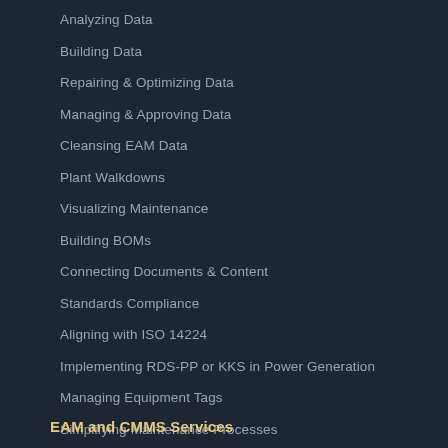Analyzing Data
Building Data
Repairing & Optimizing Data
Managing & Approving Data
Cleansing EAM Data
Plant Walkdowns
Visualizing Maintenance
Building BOMs
Connecting Documents & Content
Standards Compliance
Aligning with ISO 14224
Implementing RDS-PP or KKS in Power Generation
Managing Equipment Tags
Simplifying Maintenance Processes
Spare Parts Management
Master Data Governance
EAM and CMMS Services